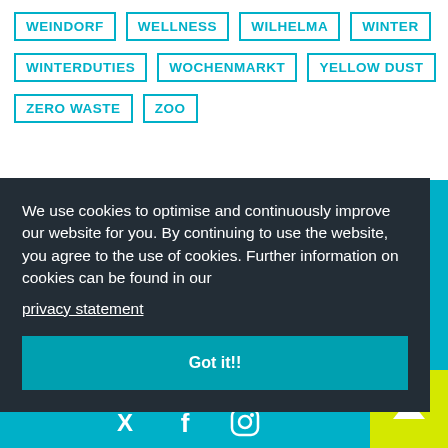WEINDORF
WELLNESS
WILHELMA
WINTER
WINTERDUTIES
WOCHENMARKT
YELLOW DUST
ZERO WASTE
ZOO
We use cookies to optimise and continuously improve our website for you. By continuing to use the website, you agree to the use of cookies. Further information on cookies can be found in our privacy statement
Got it!!